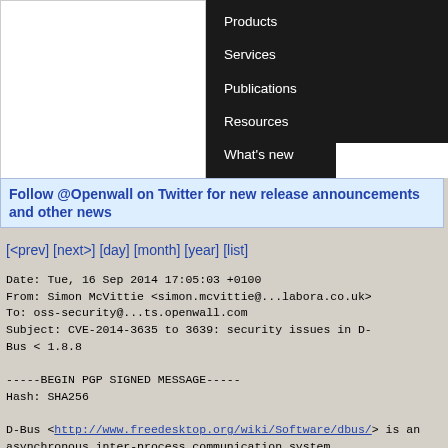[Figure (screenshot): Navigation menu with dark background containing Products, Services, Publications, Resources, What's new links, and a white logo area on the left]
Follow @Openwall on Twitter for new release announcements and other news
[<prev] [next>] [day] [month] [year] [list]
Date: Tue, 16 Sep 2014 17:05:03 +0100
From: Simon McVittie <simon.mcvittie@...labora.co.uk>
To: oss-security@...ts.openwall.com
Subject: CVE-2014-3635 to 3639: security issues in D-Bus < 1.8.8

-----BEGIN PGP SIGNED MESSAGE-----
Hash: SHA256

D-Bus <http://www.freedesktop.org/wiki/Software/dbus/> is an
asynchronous inter-process communication system,
commonly used